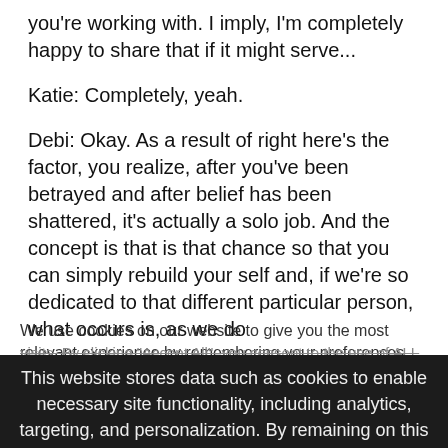you're working with. I imply, I'm completely happy to share that if it might serve...
Katie: Completely, yeah.
Debi: Okay. As a result of right here's the factor, you realize, after you've been betrayed and after belief has been shattered, it's actually a solo job. And the concept is that is that chance so that you can simply rebuild your self and, if we're so dedicated to that different particular person, what occurs is, as we do
We use cookies on our website to give you the most relevant experience by remembering your preferences and repeat visits. By clicking "Accept All", you consent to the use of ALL t... provide a controlled consent.
This website stores data such as cookies to enable necessary site functionality, including analytics, targeting, and personalization. By remaining on this website you indicate your consent Cookie Policy ✕